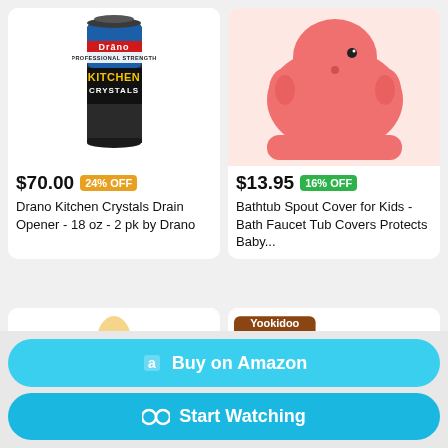[Figure (screenshot): Product listing grid with 4 items: Drano Kitchen Crystals, Bathtub Spout Cover, pacifier, and Yookidoo toy]
$70.00  24% OFF
Drano Kitchen Crystals Drain Opener - 18 oz - 2 pk by Drano
$13.95  16% OFF
Bathtub Spout Cover for Kids - Bath Faucet Tub Covers Protects Baby...
[Figure (screenshot): Buy on Amazon button]
[Figure (screenshot): Start Watching button]